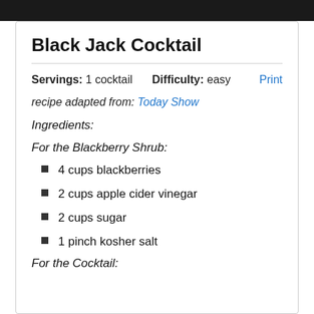[Figure (photo): Dark photo bar at top of page]
Black Jack Cocktail
Servings: 1 cocktail    Difficulty: easy    Print
recipe adapted from: Today Show
Ingredients:
For the Blackberry Shrub:
4 cups blackberries
2 cups apple cider vinegar
2 cups sugar
1 pinch kosher salt
For the Cocktail: